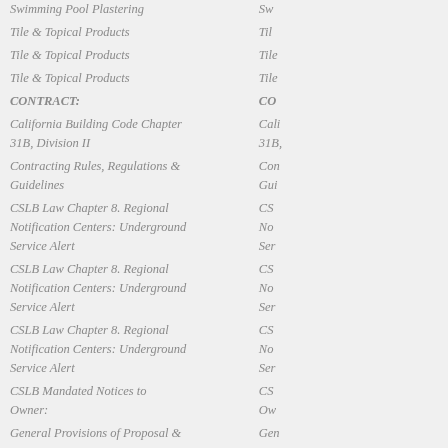Swimming Pool Plastering
Tile & Topical Products
Tile & Topical Products
Tile & Topical Products
CONTRACT:
California Building Code Chapter 31B, Division II
Contracting Rules, Regulations & Guidelines
CSLB Law Chapter 8. Regional Notification Centers: Underground Service Alert
CSLB Law Chapter 8. Regional Notification Centers: Underground Service Alert
CSLB Law Chapter 8. Regional Notification Centers: Underground Service Alert
CSLB Mandated Notices to Owner:
General Provisions of Proposal & Contract